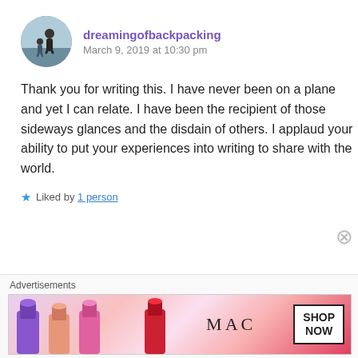[Figure (photo): Circular avatar image showing two people (adult and child) outdoors near water]
dreamingofbackpacking
March 9, 2019 at 10:30 pm
Thank you for writing this. I have never been on a plane and yet I can relate. I have been the recipient of those sideways glances and the disdain of others. I applaud your ability to put your experiences into writing to share with the world.
Liked by 1 person
Advertisements
[Figure (photo): MAC cosmetics advertisement banner showing colorful lipsticks with MAC logo and SHOP NOW button]